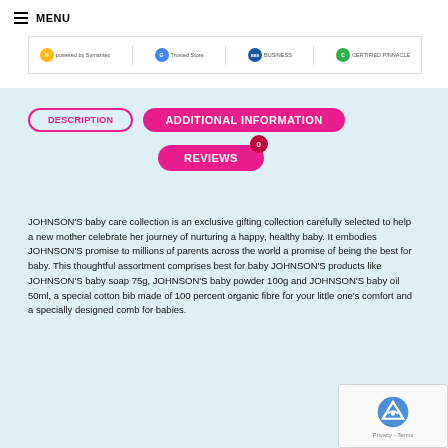≡ MENU
[Figure (screenshot): Trust badges strip showing Norton (powered by Symantec), Google Trusted Store, BBB Business, and Certified PINNACLE logos]
DESCRIPTION
ADDITIONAL INFORMATION
REVIEWS 0
JOHNSON'S baby care collection is an exclusive gifting collection carefully selected to help a new mother celebrate her journey of nurturing a happy, healthy baby. It embodies JOHNSON'S promise to millions of parents across the world a promise of being the best for baby. This thoughtful assortment comprises best for baby JOHNSON'S products like JOHNSON'S baby soap 75g, JOHNSON'S baby powder 100g and JOHNSON'S baby oil 50ml, a special cotton bib made of 100 percent organic fibre for your little one's comfort and a specially designed comb for babies.